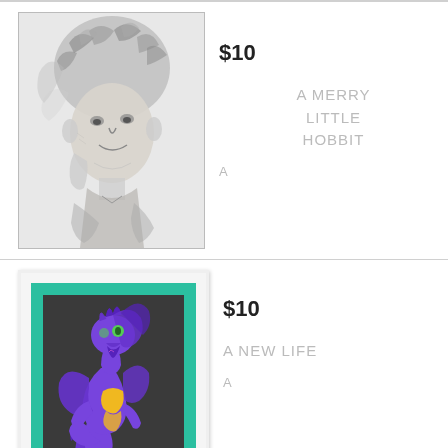[Figure (illustration): Pencil sketch portrait of a hobbit character with curly hair, framed with light gray border]
$10
A MERRY LITTLE HOBBIT
A
[Figure (illustration): Digital art of a purple dragon creature with yellow accents on dark background inside a teal/green frame with white outer border]
$10
A NEW LIFE
A